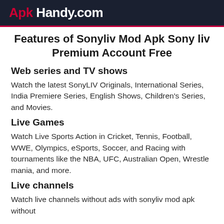Apk Handy.com
Features of Sonyliv Mod Apk Sony liv Premium Account Free
Web series and TV shows
Watch the latest SonyLIV Originals, International Series, India Premiere Series, English Shows, Children's Series, and Movies.
Live Games
Watch Live Sports Action in Cricket, Tennis, Football, WWE, Olympics, eSports, Soccer, and Racing with tournaments like the NBA, UFC, Australian Open, Wrestle mania, and more.
Live channels
Watch live channels without ads with sonyliv mod apk without